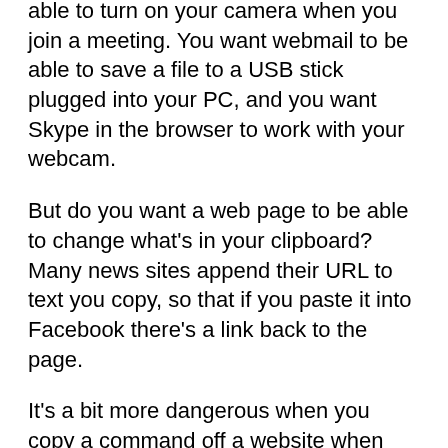able to turn on your camera when you join a meeting. You want webmail to be able to save a file to a USB stick plugged into your PC, and you want Skype in the browser to work with your webcam.
But do you want a web page to be able to change what's in your clipboard? Many news sites append their URL to text you copy, so that if you paste it into Facebook there's a link back to the page.
It's a bit more dangerous when you copy a command off a website when you're looking for help fixing your computer, and the characters you select and copy in the browser aren't the ones that you paste into the command line. It's not a new problem -- back in 2008, people nicknamed the bug WYSINWYS: What You See Is Not What You